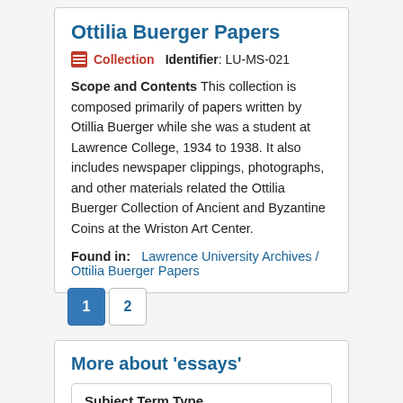Ottilia Buerger Papers
Collection   Identifier: LU-MS-021
Scope and Contents This collection is composed primarily of papers written by Otillia Buerger while she was a student at Lawrence College, 1934 to 1938. It also includes newspaper clippings, photographs, and other materials related the Ottilia Buerger Collection of Ancient and Byzantine Coins at the Wriston Art Center.
Found in:   Lawrence University Archives / Ottilia Buerger Papers
1  2
More about 'essays'
Subject Term Type